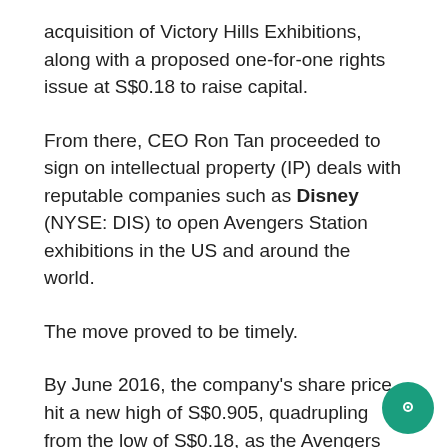acquisition of Victory Hills Exhibitions, along with a proposed one-for-one rights issue at S$0.18 to raise capital.
From there, CEO Ron Tan proceeded to sign on intellectual property (IP) deals with reputable companies such as Disney (NYSE: DIS) to open Avengers Station exhibitions in the US and around the world.
The move proved to be timely.
By June 2016, the company's share price hit a new high of S$0.905, quadrupling from the low of S$0.18, as the Avengers exhibition opened successfully in Las Vegas to much fanfare.
By 2019, Cityneon had signed up a host of valuable IPs